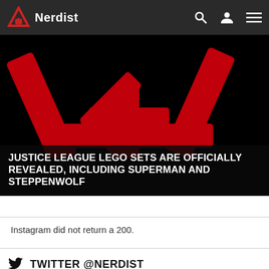Nerdist
[Figure (logo): Nerdist logo: red triangle with asterisk star symbol on black background, large version as hero image]
JUSTICE LEAGUE LEGO SETS ARE OFFICIALLY REVEALED, INCLUDING SUPERMAN AND STEPPENWOLF
Instagram did not return a 200.
TWITTER @NERDIST